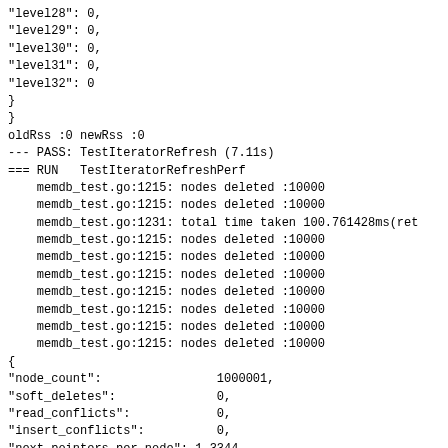"level28": 0,
"level29": 0,
"level30": 0,
"level31": 0,
"level32": 0
}
}
oldRss :0 newRss :0
--- PASS: TestIteratorRefresh (7.11s)
=== RUN   TestIteratorRefreshPerf
    memdb_test.go:1215: nodes deleted :10000
    memdb_test.go:1215: nodes deleted :10000
    memdb_test.go:1231: total time taken 100.761428ms(ret
    memdb_test.go:1215: nodes deleted :10000
    memdb_test.go:1215: nodes deleted :10000
    memdb_test.go:1215: nodes deleted :10000
    memdb_test.go:1215: nodes deleted :10000
    memdb_test.go:1215: nodes deleted :10000
    memdb_test.go:1215: nodes deleted :10000
    memdb_test.go:1215: nodes deleted :10000
{
"node_count":                1000001,
"soft_deletes":              0,
"read_conflicts":            0,
"insert_conflicts":          0,
"next_pointers_per_node": 1.3344,
"memory_used":              57239823,
"node_allocs":              1090001,
"node_frees":               20000,
"level_node_distribution":{